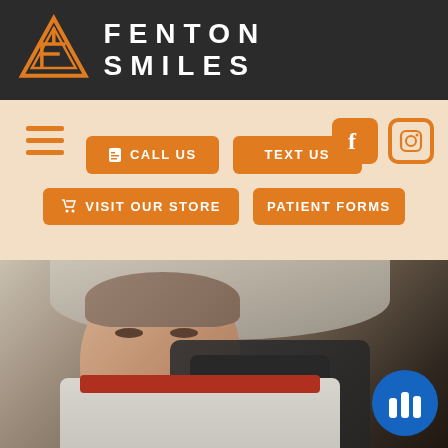FENTON SMILES
[Figure (logo): Fenton Smiles logo: orange geometric F-shaped arrow triangle icon with text FENTON SMILES in white letters on dark background]
[Figure (infographic): Navigation bar with hamburger menu icon (orange), Facebook icon (orange rounded square), Instagram icon (orange outline), and four orange buttons: CALL US, TEXT US, VISIT OUR STORE, PATIENT FORMS]
[Figure (photo): Young boy sitting in dental chair receiving dental treatment from a dentist wearing black gloves, holding dental instrument near child's mouth. Child has short hair and is wearing a dental bib. Blue chat/voice icon overlay in bottom right corner.]